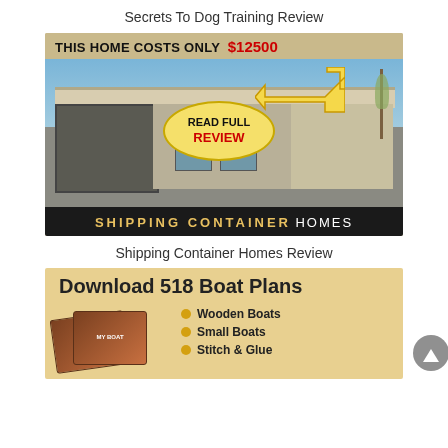Secrets To Dog Training Review
[Figure (illustration): Advertisement banner for Shipping Container Homes showing a photo of a modern container home, text 'THIS HOME COSTS ONLY $12500', an oval badge reading 'READ FULL REVIEW', an arrow pointing to the home, and a footer bar reading 'SHIPPING CONTAINER HOMES']
Shipping Container Homes Review
[Figure (illustration): Advertisement banner for 'Download 518 Boat Plans' showing book/DVD product images and a list: Wooden Boats, Small Boats, Stitch & Glue]